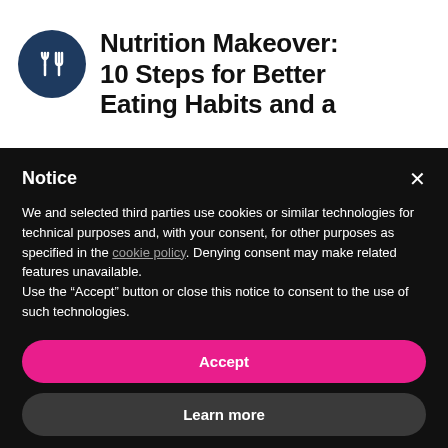Nutrition Makeover: 10 Steps for Better Eating Habits and a
Notice
We and selected third parties use cookies or similar technologies for technical purposes and, with your consent, for other purposes as specified in the cookie policy. Denying consent may make related features unavailable.
Use the “Accept” button or close this notice to consent to the use of such technologies.
Accept
Learn more